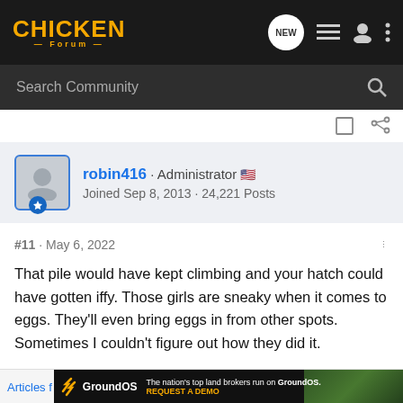CHICKEN FORUM
Search Community
robin416 · Administrator
Joined Sep 8, 2013 · 24,221 Posts
#11 · May 6, 2022
That pile would have kept climbing and your hatch could have gotten iffy. Those girls are sneaky when it comes to eggs. They'll even bring eggs in from other spots. Sometimes I couldn't figure out how they did it.
Articles f...
[Figure (screenshot): GroundOS advertisement banner: The nation's top land brokers run on GroundOS. REQUEST A DEMO]